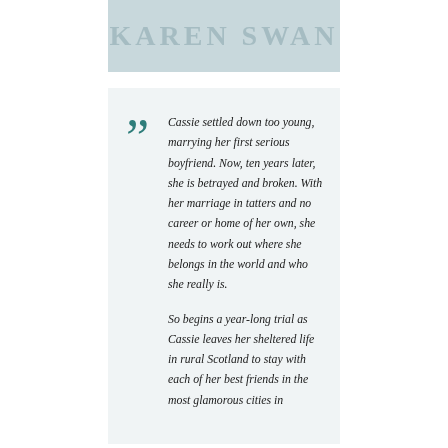[Figure (illustration): Book cover banner showing author name KAREN SWAN in large letters on a light blue-grey background]
Cassie settled down too young, marrying her first serious boyfriend. Now, ten years later, she is betrayed and broken. With her marriage in tatters and no career or home of her own, she needs to work out where she belongs in the world and who she really is.

So begins a year-long trial as Cassie leaves her sheltered life in rural Scotland to stay with each of her best friends in the most glamorous cities in